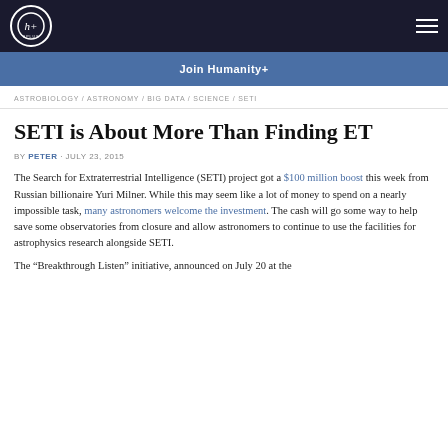Humanity+
Join Humanity+
ASTROBIOLOGY / ASTRONOMY / BIG DATA / SCIENCE / SETI
SETI is About More Than Finding ET
BY PETER · JULY 23, 2015
The Search for Extraterrestrial Intelligence (SETI) project got a $100 million boost this week from Russian billionaire Yuri Milner. While this may seem like a lot of money to spend on a nearly impossible task, many astronomers welcome the investment. The cash will go some way to help save some observatories from closure and allow astronomers to continue to use the facilities for astrophysics research alongside SETI.
The “Breakthrough Listen” initiative, announced on July 20 at the